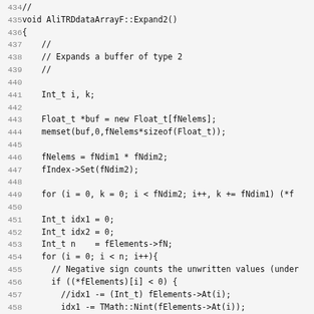[Figure (screenshot): Source code listing (C++) showing lines 435–466 of AliTRDdataArrayF::Expand2() function, with line numbers in gray and code in monospace font on a light gray background.]